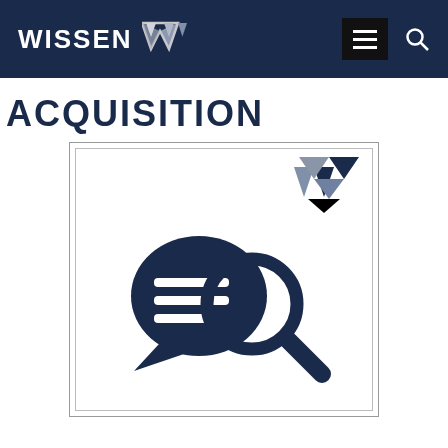WISSEN W [logo]
ACQUISITION
[Figure (illustration): Square framed illustration showing a navy blue chat/speech bubble icon overlaid with a magnifying glass icon, with a small Wissen triangular logo mark in the top-right corner of the frame.]